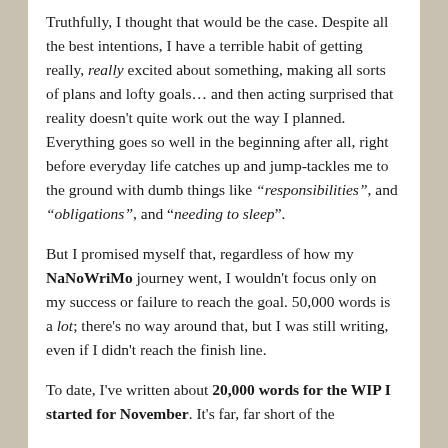Truthfully, I thought that would be the case. Despite all the best intentions, I have a terrible habit of getting really, really excited about something, making all sorts of plans and lofty goals... and then acting surprised that reality doesn't quite work out the way I planned. Everything goes so well in the beginning after all, right before everyday life catches up and jump-tackles me to the ground with dumb things like "responsibilities", and "obligations", and "needing to sleep".
But I promised myself that, regardless of how my NaNoWriMo journey went, I wouldn't focus only on my success or failure to reach the goal. 50,000 words is a lot; there's no way around that, but I was still writing, even if I didn't reach the finish line.
To date, I've written about 20,000 words for the WIP I started for November. It's far, far short of the